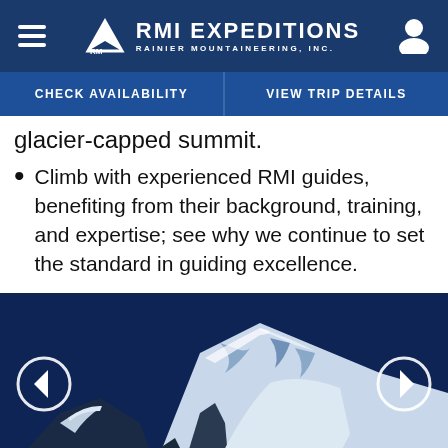RMI EXPEDITIONS — RAINIER MOUNTAINEERING, INC.
CHECK AVAILABILITY | VIEW TRIP DETAILS
glacier-capped summit.
Climb with experienced RMI guides, benefiting from their background, training, and expertise; see why we continue to set the standard in guiding excellence.
[Figure (photo): Snow-covered mountain summit (Mount Rainier) against deep blue sky, with left and right navigation arrows overlaid]